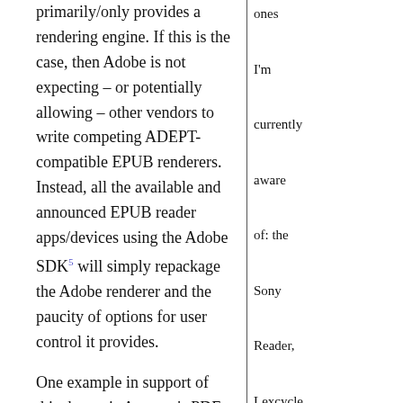primarily/only provides a rendering engine. If this is the case, then Adobe is not expecting – or potentially allowing – other vendors to write competing ADEPT-compatible EPUB renderers. Instead, all the available and announced EPUB reader apps/devices using the Adobe SDK⁵ will simply repackage the Adobe renderer and the paucity of options for user control it provides.
One example in support of this theory is Amazon's PDF support in the Kindle DX. Although not widely advertised, Amazon is apparently using the Adobe SDK
ones I'm currently aware of: the Sony Reader, Lexcycle Stanza, the Bookeen Cybook, and the Elonex ebook.